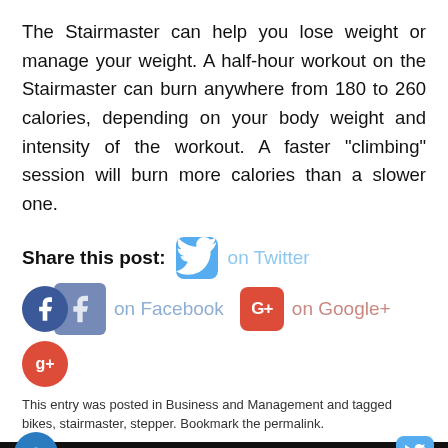The Stairmaster can help you lose weight or manage your weight. A half-hour workout on the Stairmaster can burn anywhere from 180 to 260 calories, depending on your body weight and intensity of the workout. A faster "climbing" session will burn more calories than a slower one.
Share this post: on Twitter on Facebook on Google+
This entry was posted in Business and Management and tagged bikes, stairmaster, stepper. Bookmark the permalink.
FINDING ADVANCED DENTAL CARE IN
GO FOR GOOD HOME ISNPECTOR IN SAN